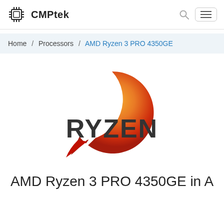CMPtek
Home / Processors / AMD Ryzen 3 PRO 4350GE
[Figure (logo): AMD Ryzen logo with orange-red brushstroke circle and dark gray RYZEN text]
AMD Ryzen 3 PRO 4350GE in A